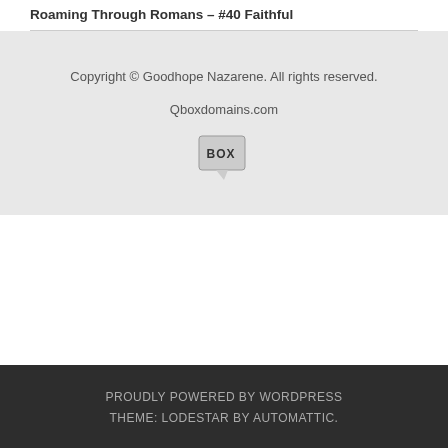Roaming Through Romans – #40 Faithful
Copyright © Goodhope Nazarene. All rights reserved.
Qboxdomains.com
[Figure (logo): BOX logo icon — a small speech bubble icon with 'BOX' text inside]
PROUDLY POWERED BY WORDPRESS THEME: LODESTAR BY AUTOMATTIC.